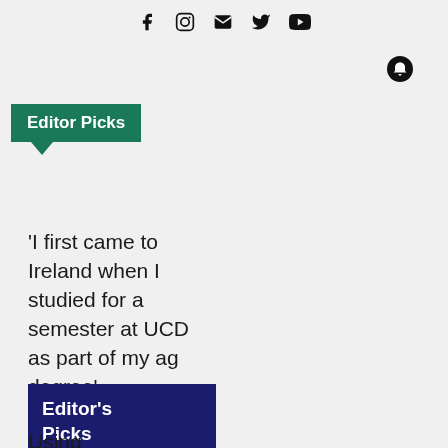f  [instagram]  [mail]  [twitter]  [youtube]
[Figure (other): Bell/notification icon in top right]
Editor Picks
'I first came to Ireland when I studied for a semester at UCD as part of my ag degree'
Editor's Picks
Using